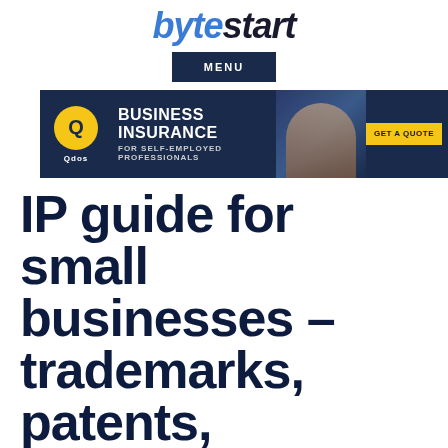bytestart
MENU
[Figure (other): Qdos Business Insurance advertisement banner with logo, woman photo, and GET A QUOTE button. Text: BUSINESS INSURANCE FOR SELF-EMPLOYED PROFESSIONALS]
IP guide for small businesses – trademarks, patents, copyright and design rights